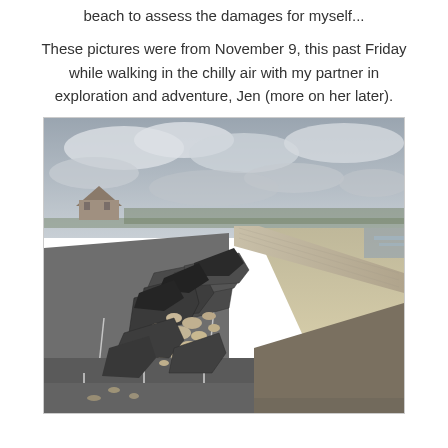beach to assess the damages for myself...
These pictures were from November 9, this past Friday while walking in the chilly air with my partner in exploration and adventure, Jen (more on her later).
[Figure (photo): A photograph of storm-damaged beach parking lot and seawall. Asphalt pavement is cracked, buckled, and heaved up with rocks and debris scattered beneath. A concrete seawall runs along the right side with sandy beach and ocean visible beyond. A pavilion building is visible in the far background under an overcast sky.]